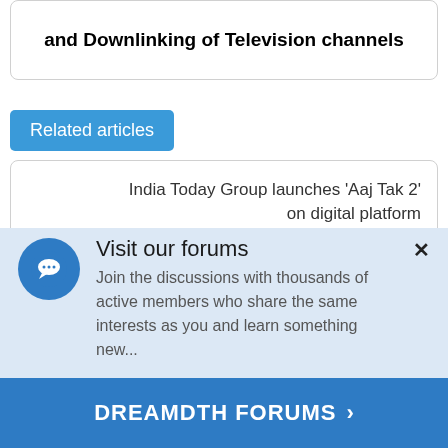and Downlinking of Television channels
Related articles
India Today Group launches ‘Aaj Tak 2’ on digital platform
Visit our forums
Join the discussions with thousands of active members who share the same interests as you and learn something new...
DREAMDTH FORUMS ›